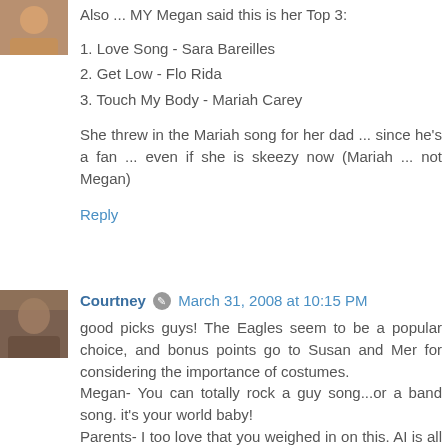[Figure (photo): Small avatar photo of a person, partially visible at top left]
Also ... MY Megan said this is her Top 3:
1. Love Song - Sara Bareilles
2. Get Low - Flo Rida
3. Touch My Body - Mariah Carey
She threw in the Mariah song for her dad ... since he's a fan ... even if she is skeezy now (Mariah ... not Megan)
Reply
[Figure (photo): Small avatar photo of Courtney]
Courtney 🖊 March 31, 2008 at 10:15 PM
good picks guys! The Eagles seem to be a popular choice, and bonus points go to Susan and Mer for considering the importance of costumes.
Megan- You can totally rock a guy song...or a band song. it's your world baby!
Parents- I too love that you weighed in on this. AI is all about the variety!
And parsons- get your girl some class. Well, tell Jill to get your girl some class!